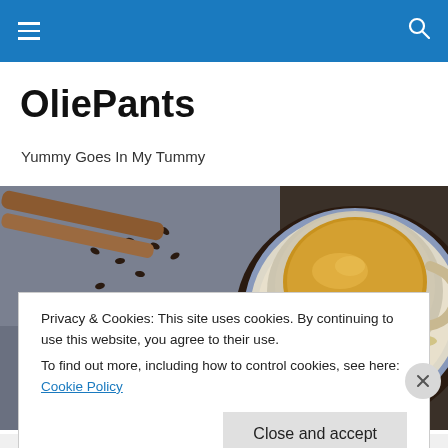Navigation bar with hamburger menu and search icon
OliePants
Yummy Goes In My Tummy
[Figure (photo): Overhead view of a cup of chai/milk tea on a saucer with spices: cinnamon sticks, coffee/cardamom seeds scattered on grey linen cloth, and a small metal bowl of green cardamom pods in the lower left.]
Privacy & Cookies: This site uses cookies. By continuing to use this website, you agree to their use.
To find out more, including how to control cookies, see here: Cookie Policy
Close and accept